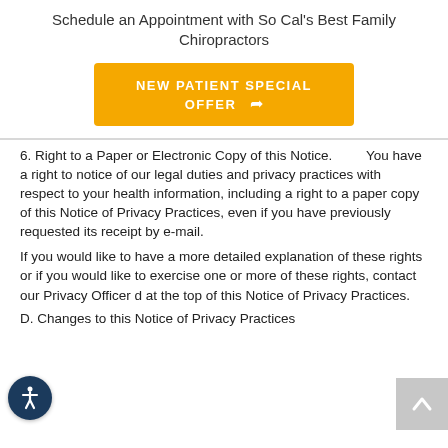Schedule an Appointment with So Cal's Best Family Chiropractors
[Figure (other): Orange button with text NEW PATIENT SPECIAL OFFER and an arrow icon]
6. Right to a Paper or Electronic Copy of this Notice. You have a right to notice of our legal duties and privacy practices with respect to your health information, including a right to a paper copy of this Notice of Privacy Practices, even if you have previously requested its receipt by e-mail.
If you would like to have a more detailed explanation of these rights or if you would like to exercise one or more of these rights, contact our Privacy Officer d at the top of this Notice of Privacy Practices.
D. Changes to this Notice of Privacy Practices